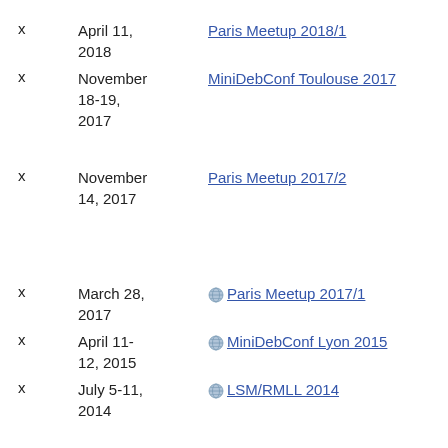x   April 11, 2018   Paris Meetup 2018/1
x   November 18-19, 2017   MiniDebConf Toulouse 2017
x   November 14, 2017   Paris Meetup 2017/2
x   March 28, 2017   Paris Meetup 2017/1
x   April 11-12, 2015   MiniDebConf Lyon 2015
x   July 5-11, 2014   LSM/RMLL 2014